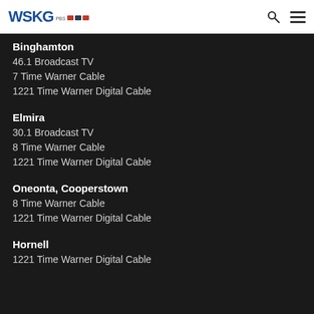WSKG PBS
Binghamton
46.1 Broadcast TV
7 Time Warner Cable
1221 Time Warner Digital Cable
Elmira
30.1 Broadcast TV
8 Time Warner Cable
1221 Time Warner Digital Cable
Oneonta, Cooperstown
8 Time Warner Cable
1221 Time Warner Digital Cable
Hornell
1221 Time Warner Digital Cable